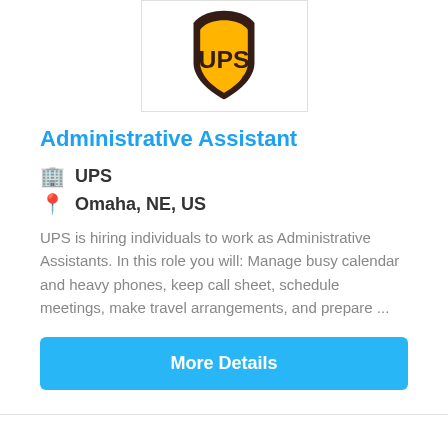[Figure (logo): UPS logo - brown shield with yellow UPS text]
Administrative Assistant
🏢 UPS
📍 Omaha, NE, US
UPS is hiring individuals to work as Administrative Assistants. In this role you will: Manage busy calendar and heavy phones, keep call sheet, schedule meetings, make travel arrangements, and prepare ...
More Details
[Figure (logo): DHL logo - red and yellow brand logo]
NEW